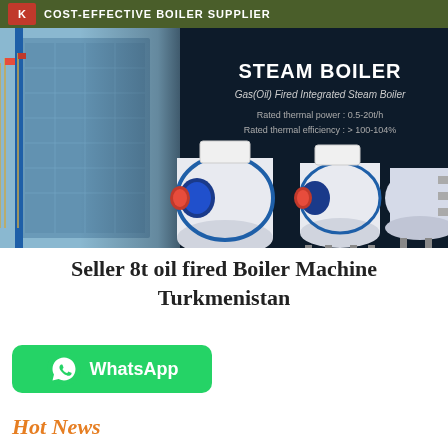COST-EFFECTIVE BOILER SUPPLIER
[Figure (photo): Steam boiler product hero image showing industrial steam boilers on dark background with building exterior on left. Text overlay reads: STEAM BOILER, Gas(Oil) Fired Integrated Steam Boiler, Rated thermal power: 0.5-20t/h, Rated thermal efficiency: >100-104%]
Seller 8t oil fired Boiler Machine Turkmenistan
[Figure (logo): WhatsApp button - green rounded rectangle with WhatsApp icon and text 'WhatsApp']
Hot News